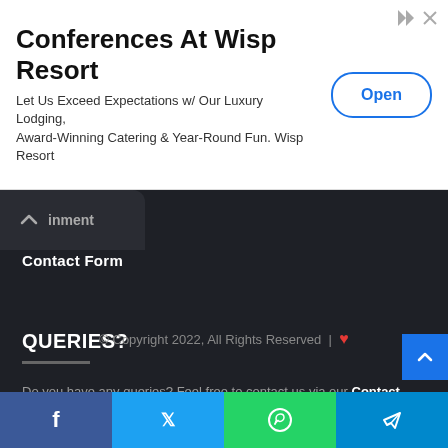[Figure (other): Advertisement banner for Conferences At Wisp Resort with Open button]
inment
Contact Form
QUERIES?
Do you have any queries? Feel free to contact us via our Contact Form
© Copyright 2022, All Rights Reserved  |  ❤
[Figure (other): Social share bar with Facebook, Twitter, WhatsApp, Telegram buttons]